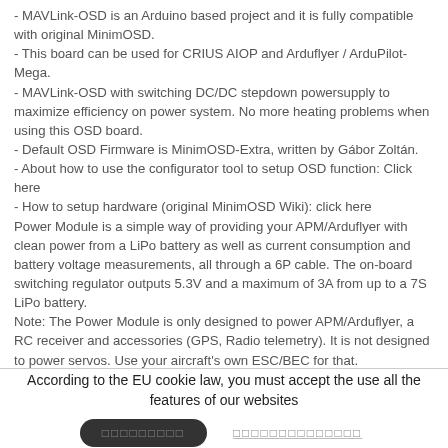- MAVLink-OSD is an Arduino based project and it is fully compatible with original MinimOSD.
- This board can be used for CRIUS AIOP and Arduflyer / ArduPilot-Mega.
- MAVLink-OSD with switching DC/DC stepdown powersupply to maximize efficiency on power system. No more heating problems when using this OSD board.
- Default OSD Firmware is MinimOSD-Extra, written by Gábor Zoltán.
- About how to use the configurator tool to setup OSD function: Click here
- How to setup hardware (original MinimOSD Wiki): click here
Power Module is a simple way of providing your APM/Arduflyer with clean power from a LiPo battery as well as current consumption and battery voltage measurements, all through a 6P cable. The on-board switching regulator outputs 5.3V and a maximum of 3A from up to a 7S LiPo battery.
Note: The Power Module is only designed to power APM/Arduflyer, a RC receiver and accessories (GPS, Radio telemetry). It is not designed to power servos. Use your aircraft's own ESC/BEC for that.
Features
According to the EU cookie law, you must accept the use all the features of our websites
☐☐☐☐☐☐☐☐☐
☐☐☐☐☐☐☐☐☐☐☐☐☐☐